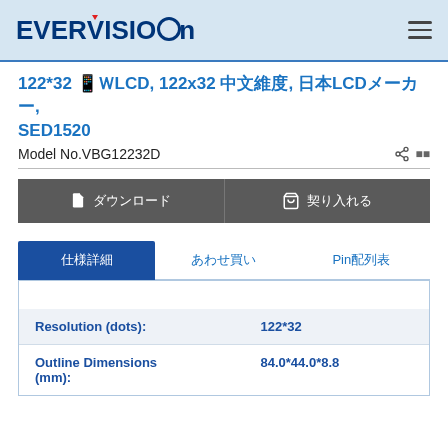EVERVISION
122*32 ??LCD, 122x32 ????, ??LCD??, SED1520
Model No.VBG12232D
? ???? | ? ????
| ???? | ???? | Pin???? |
| --- | --- | --- |
| Resolution (dots): | 122*32 |  |
| Outline Dimensions (mm): | 84.0*44.0*8.8 |  |